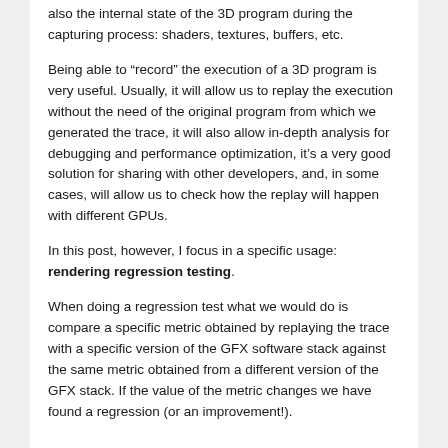also the internal state of the 3D program during the capturing process: shaders, textures, buffers, etc.
Being able to “record” the execution of a 3D program is very useful. Usually, it will allow us to replay the execution without the need of the original program from which we generated the trace, it will also allow in-depth analysis for debugging and performance optimization, it’s a very good solution for sharing with other developers, and, in some cases, will allow us to check how the replay will happen with different GPUs.
In this post, however, I focus in a specific usage: rendering regression testing.
When doing a regression test what we would do is compare a specific metric obtained by replaying the trace with a specific version of the GFX software stack against the same metric obtained from a different version of the GFX stack. If the value of the metric changes we have found a regression (or an improvement!).